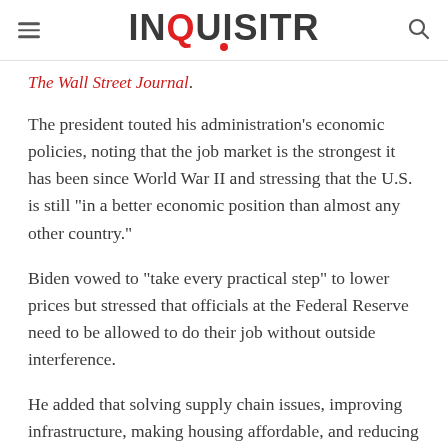INQUISITR
The Wall Street Journal.
The president touted his administration's economic policies, noting that the job market is the strongest it has been since World War II and stressing that the U.S. is still "in a better economic position than almost any other country."
Biden vowed to "take every practical step" to lower prices but stressed that officials at the Federal Reserve need to be allowed to do their job without outside interference.
He added that solving supply chain issues, improving infrastructure, making housing affordable, and reducing the